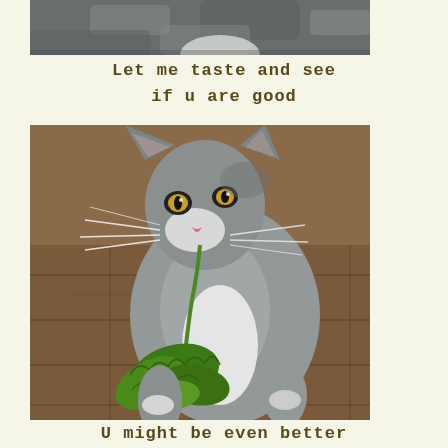[Figure (photo): Close-up photo of a gray and white cat from above, partially cropped at the top of the page]
Let me taste and see
if u are good
[Figure (photo): A gray and white cat with yellow eyes holding a piece of green kale/broccoli in its mouth, standing on a tiled floor]
U might be even better